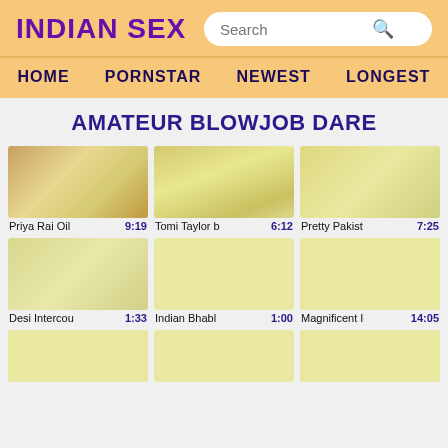INDIAN SEX
AMATEUR BLOWJOB DARE
[Figure (screenshot): Video thumbnail 1: Priya Rai Oil, duration 9:19]
Priya Rai Oil 9:19
[Figure (screenshot): Video thumbnail 2: Tomi Taylor b, duration 6:12]
Tomi Taylor b 6:12
[Figure (screenshot): Video thumbnail 3: Pretty Pakist, duration 7:25]
Pretty Pakist 7:25
[Figure (screenshot): Video thumbnail 4: Desi Intercou, duration 1:33]
Desi Intercou 1:33
[Figure (screenshot): Video thumbnail 5: Indian Bhabl, duration 1:00]
Indian Bhabl 1:00
[Figure (screenshot): Video thumbnail 6: Magnificent I, duration 14:05]
Magnificent I 14:05